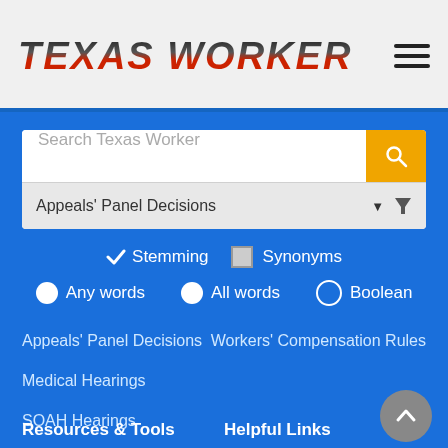TEXAS WORKER
[Figure (screenshot): Hamburger menu icon (three horizontal lines)]
Search Texas Worker
Appeals' Panel Decisions
✓ Stemming  □ Synonyms
● Any words  ● All words  ○ Boolean
Appeals' Panel Decisions
Workers' Compensation Rules
Medical Hearings
SOAH Hearings
Resources & Tools
Helpful Links
Appeals' Panel Manual
Division of Workers'